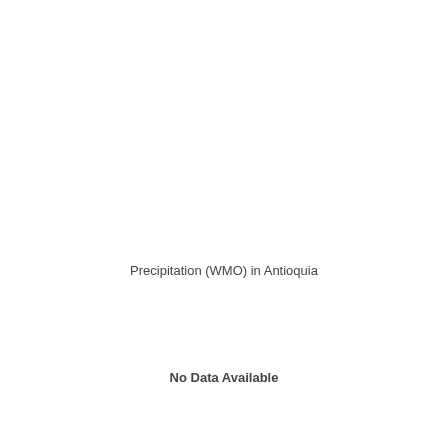Precipitation (WMO) in Antioquia
No Data Available